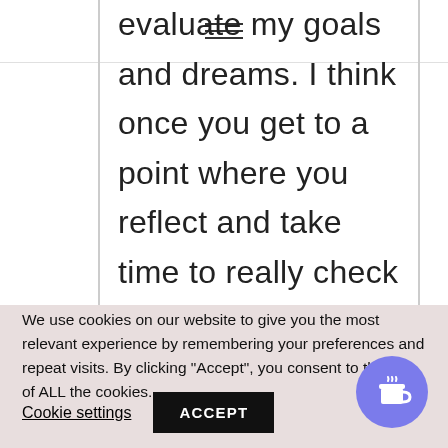≡ (hamburger menu icon)
evaluate my goals and dreams. I think once you get to a point where you reflect and take time to really check in with yourself, it can make all the difference. This is such a great post and reminder to just go for it!
We use cookies on our website to give you the most relevant experience by remembering your preferences and repeat visits. By clicking "Accept", you consent to the use of ALL the cookies.
Cookie settings  ACCEPT